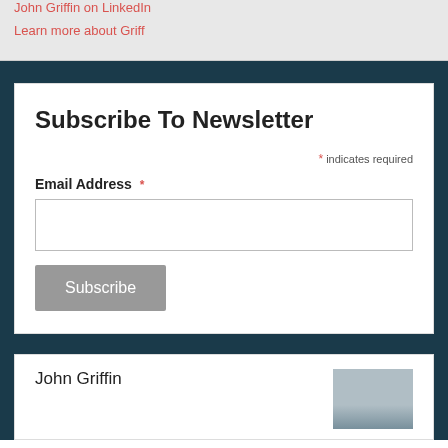John Griffin on LinkedIn
Learn more about Griff
Subscribe To Newsletter
* indicates required
Email Address *
Subscribe
John Griffin